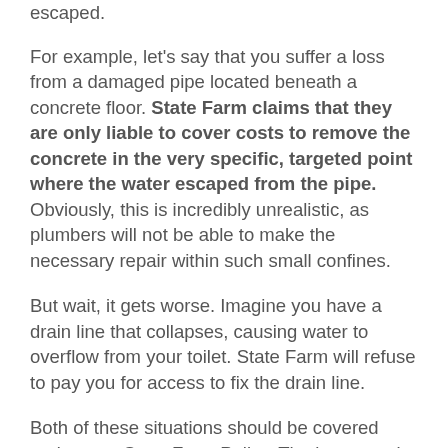escaped.
For example, let's say that you suffer a loss from a damaged pipe located beneath a concrete floor. State Farm claims that they are only liable to cover costs to remove the concrete in the very specific, targeted point where the water escaped from the pipe. Obviously, this is incredibly unrealistic, as plumbers will not be able to make the necessary repair within such small confines.
But wait, it gets worse. Imagine you have a drain line that collapses, causing water to overflow from your toilet. State Farm will refuse to pay you for access to fix the drain line.
Both of these situations should be covered under your State Farm Policy. The language is not only ambiguous, but it is unconscionable. And whenever